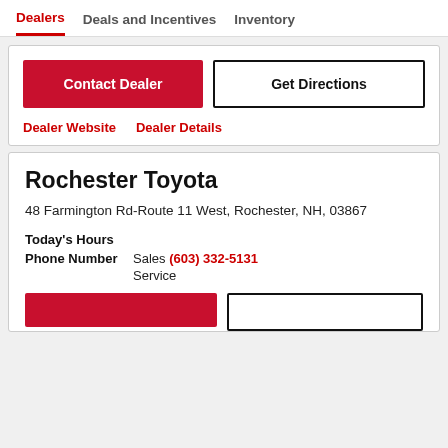Dealers | Deals and Incentives | Inventory
Contact Dealer | Get Directions
Dealer Website  Dealer Details
Rochester Toyota
48 Farmington Rd-Route 11 West, Rochester, NH, 03867
Today's Hours
Phone Number  Sales (603) 332-5131
Service